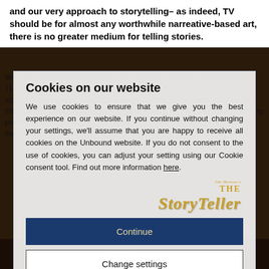and our very approach to storytelling– as indeed, TV should be for almost any worthwhile narreative-based art, there is no greater medium for telling stories.
We surely have to pay emotional homage first of all to Jim Henson's original THE STORYTELLER, starring John Hurt as the rascally weaver of plots, accompanied by his snarky, ballsy dog, Dog. The magic summoned up by those nine half-hours represents the absolute pinnacle of the cosy, bewitching power of TV storytelling, unbeaten even by Jackanory, and partly thanks to the development of the late Anthony Minghella...
Cookies on our website
We use cookies to ensure that we give you the best experience on our website. If you continue without changing your settings, we'll assume that you are happy to receive all cookies on the Unbound website. If you do not consent to the use of cookies, you can adjust your setting using our Cookie consent tool. Find out more information here.
[Figure (logo): Jim Henson's The Storyteller logo in gold text]
Continue
Change settings
[Figure (photo): Dark background photo of a firelit storytelling scene]